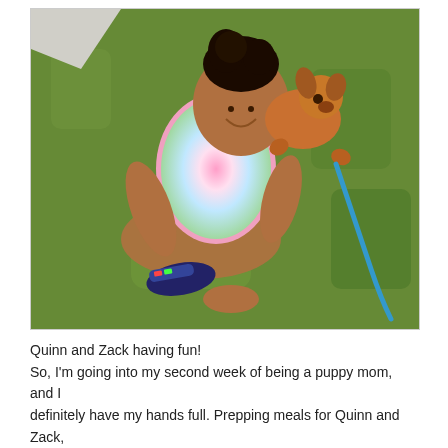[Figure (photo): A young girl sitting on green grass, smiling, wearing a colorful pink tie-dye shirt and sneakers, with a small fluffy golden/brown puppy climbing on her back. A blue leash is attached to the puppy.]
Quinn and Zack having fun!
So, I'm going into my second week of being a puppy mom, and I definitely have my hands full. Prepping meals for Quinn and Zack, tending to both of their needs and carving out a little time for